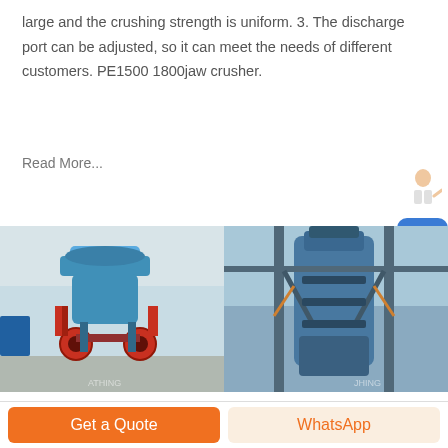large and the crushing strength is uniform. 3. The discharge port can be adjusted, so it can meet the needs of different customers. PE1500 1800jaw crusher.
Read More...
[Figure (photo): Two industrial rock crushing machines photographed in a factory/outdoor setting. Left: a blue cone crusher with red mechanical components on a steel frame. Right: a large blue vertical crusher/mill on a gantry structure outdoors.]
Choosing the Right Rock: Comparing Crushed Rock Sizes and ...
Get a Quote
WhatsApp